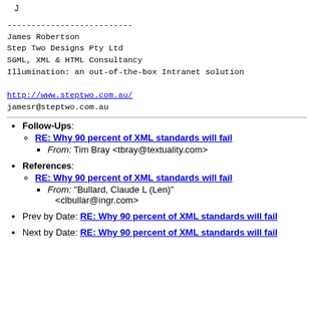J
--------------------------
James Robertson
Step Two Designs Pty Ltd
SGML, XML & HTML Consultancy
Illumination: an out-of-the-box Intranet solution

http://www.steptwo.com.au/
jamesr@steptwo.com.au
Follow-Ups: RE: Why 90 percent of XML standards will fail — From: Tim Bray <tbray@textuality.com>
References: RE: Why 90 percent of XML standards will fail — From: "Bullard, Claude L (Len)" <clbullar@ingr.com>
Prev by Date: RE: Why 90 percent of XML standards will fail
Next by Date: RE: Why 90 percent of XML standards will fail